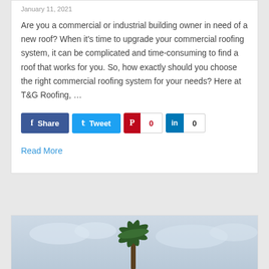January 11, 2021
Are you a commercial or industrial building owner in need of a new roof? When it’s time to upgrade your commercial roofing system, it can be complicated and time-consuming to find a roof that works for you. So, how exactly should you choose the right commercial roofing system for your needs? Here at T&G Roofing, …
Share | Tweet | Pinterest 0 | LinkedIn 0
Read More
[Figure (photo): Partial view of a photo showing a palm tree against a cloudy sky, at the bottom of the page]